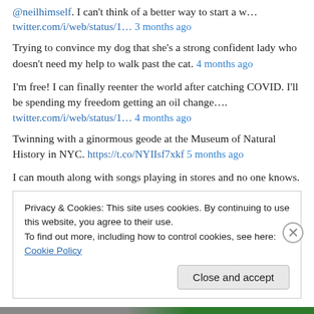@neilhimself. I can't think of a better way to start a w… twitter.com/i/web/status/1… 3 months ago
Trying to convince my dog that she's a strong confident lady who doesn't need my help to walk past the cat. 4 months ago
I'm free! I can finally reenter the world after catching COVID. I'll be spending my freedom getting an oil change…. twitter.com/i/web/status/1… 4 months ago
Twinning with a ginormous geode at the Museum of Natural History in NYC. https://t.co/NYIIsf7xkf 5 months ago
I can mouth along with songs playing in stores and no one knows.
Privacy & Cookies: This site uses cookies. By continuing to use this website, you agree to their use.
To find out more, including how to control cookies, see here: Cookie Policy